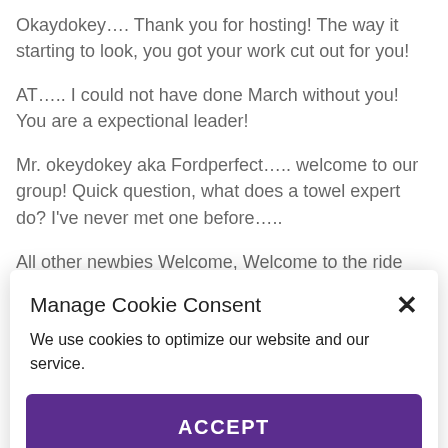Okaydokey…. Thank you for hosting! The way it starting to look, you got your work cut out for you!
AT….. I could not have done March without you! You are a expectional leader!
Mr. okeydokey aka Fordperfect….. welcome to our group! Quick question, what does a towel expert do? I've never met one before…..
All other newbies Welcome, Welcome to the ride that never ends. So
Manage Cookie Consent
We use cookies to optimize our website and our service.
ACCEPT
Opt-out preferences   Privacy statement